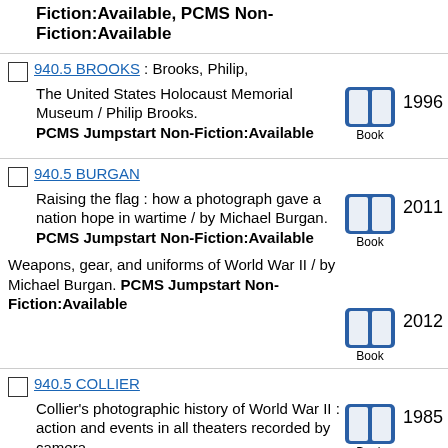Fiction:Available, PCMS Non-Fiction:Available
940.5 BROOKS : Brooks, Philip, The United States Holocaust Memorial Museum / Philip Brooks. PCMS Jumpstart Non-Fiction:Available 1996
940.5 BURGAN - Raising the flag : how a photograph gave a nation hope in wartime / by Michael Burgan. PCMS Jumpstart Non-Fiction:Available 2011
Weapons, gear, and uniforms of World War II / by Michael Burgan. PCMS Jumpstart Non-Fiction:Available 2012
940.5 COLLIER - Collier's photographic history of World War II : action and events in all theaters recorded by camera PCMS Non-Fiction:Available 1985